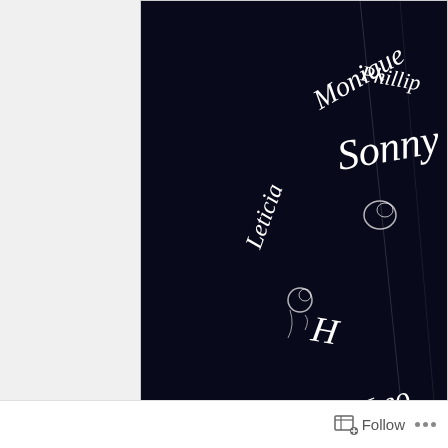[Figure (photo): A dark black/navy background with white cursive calligraphy text forming a circular wreath design. Names visible include 'Monique', 'Phillip', 'Sonny', 'Leticia', 'Leo', 'Cleo' with decorative rose illustrations around the border. Scratches visible on dark surface.]
Debbie Downer Stickers
However I was presently surprised to see this
[Figure (photo): Partial view of a grey/stone-textured surface, appears to be a gravestone or memorial marker, partially cut off at bottom of page.]
Follow ...